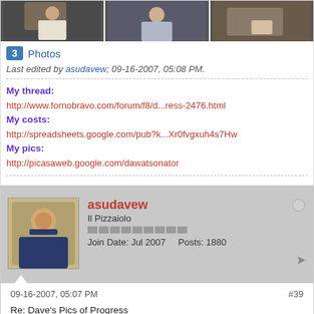[Figure (photo): Three photo thumbnails showing people]
3 Photos
Last edited by asudavew; 09-16-2007, 05:08 PM.
My thread:
http://www.fornobravo.com/forum/f8/d...ress-2476.html
My costs:
http://spreadsheets.google.com/pub?k...Xr0fvgxuh4s7Hw
My pics:
http://picasaweb.google.com/dawatsonator
[Figure (photo): User avatar photo of asudavew]
asudavew
Il Pizzaiolo
Join Date: Jul 2007    Posts: 1880
09-16-2007, 05:07 PM
#39
Re: Dave's Pics of Progress
Now a few fun pics for the day.
All that hard work we were excited. So I took some perforios. Thanks to